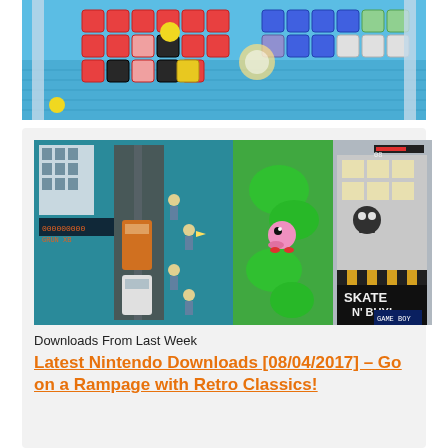[Figure (screenshot): Top banner screenshot of a colorful puzzle/battle game with red, pink, blue and white tiles on a blue background, showing multiple characters in combat]
[Figure (screenshot): Card image showing retro GBA-style game screenshots side by side: left side shows a top-down action game with cars and characters on city streets, right side shows Kirby-style game and 'Skate N Buy!' store front with pixel art]
Downloads From Last Week
Latest Nintendo Downloads [08/04/2017] - Go on a Rampage with Retro Classics!